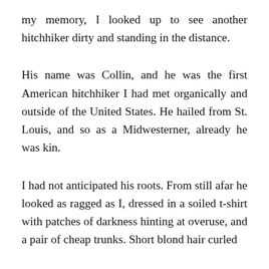my memory, I looked up to see another hitchhiker dirty and standing in the distance.
His name was Collin, and he was the first American hitchhiker I had met organically and outside of the United States. He hailed from St. Louis, and so as a Midwesterner, already he was kin.
I had not anticipated his roots. From still afar he looked as ragged as I, dressed in a soiled t-shirt with patches of darkness hinting at overuse, and a pair of cheap trunks. Short blond hair curled